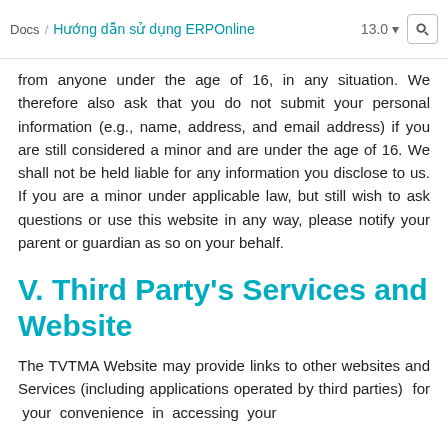Docs / Hướng dẫn sử dụng ERPOnline | 13.0
from anyone under the age of 16, in any situation. We therefore also ask that you do not submit your personal information (e.g., name, address, and email address) if you are still considered a minor and are under the age of 16. We shall not be held liable for any information you disclose to us. If you are a minor under applicable law, but still wish to ask questions or use this website in any way, please notify your parent or guardian as so on your behalf.
V. Third Party's Services and Website
The TVTMA Website may provide links to other websites and Services (including applications operated by third parties)  for  your  convenience  in  accessing  your